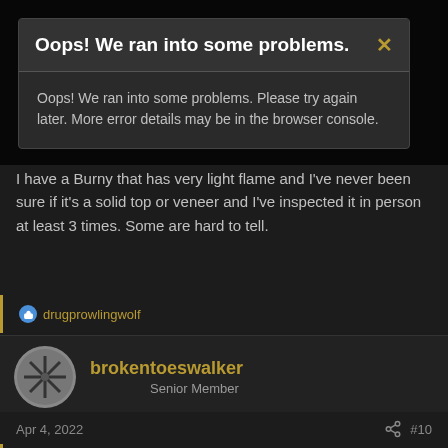Oops! We ran into some problems.
Oops! We ran into some problems. Please try again later. More error details may be in the browser console.
I have a Burny that has very light flame and I've never been sure if it's a solid top or veneer and I've inspected it in person at least 3 times. Some are hard to tell.
drugprowlingwolf
brokentoeswalker
Senior Member
Apr 4, 2022
#10
Do you have any pics of the whole guitar ? Or at least the top ? I'd like to see the top before we get to see some pictures that can show better proof.